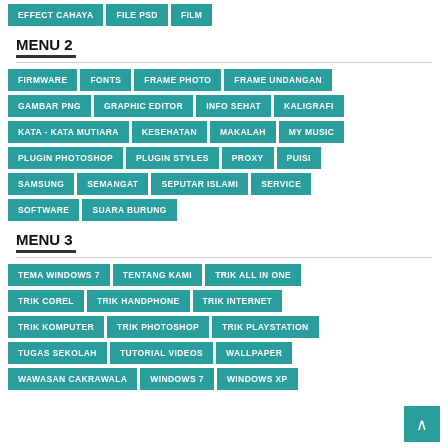EFFECT CAHAYA
FILE PSD
FILM
MENU 2
FIRMWARE
FONTS
FRAME PHOTO
FRAME UNDANGAN
GAMBAR PNG
GRAPHIC EDITOR
INFO SEHAT
KALIGRAFI
KATA - KATA MUTIARA
KESEHATAN
MAKALAH
MY MUSIC
PLUGIN PHOTOSHOP
PLUGIN STYLES
PROXY
PUISI
SAMSUNG
SEMANGAT
SEPUTAR ISLAMI
SERVICE
SOFTWARE
SUARA BURUNG
MENU 3
TEMA WINDOWS 7
TENTANG KAMI
TRIK ALL IN ONE
TRIK COREL
TRIK HANDPHONE
TRIK INTERNET
TRIK KOMPUTER
TRIK PHOTOSHOP
TRIK PLAYSTATION
TUGAS SEKOLAH
TUTORIAL VIDEOS
WALLPAPER
WAWASAN CAKRAWALA
WINDOWS 7
WINDOWS XP